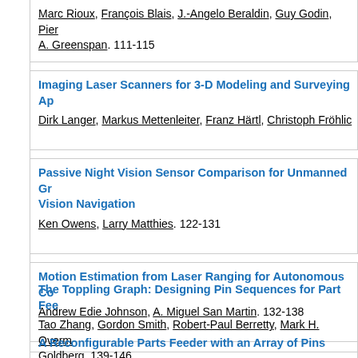Marc Rioux, François Blais, J.-Angelo Beraldin, Guy Godin, Pierre A. Greenspan. 111-115
Imaging Laser Scanners for 3-D Modeling and Surveying Applications
Dirk Langer, Markus Mettenleiter, Franz Härtl, Christoph Fröhlich
Passive Night Vision Sensor Comparison for Unmanned Ground Vehicle Vision Navigation
Ken Owens, Larry Matthies. 122-131
Motion Estimation from Laser Ranging for Autonomous Control
Andrew Edie Johnson, A. Miguel San Martin. 132-138
The Toppling Graph: Designing Pin Sequences for Part Feeding
Tao Zhang, Gordon Smith, Robert-Paul Berretty, Mark H. Overmars, Ken Goldberg. 139-146
A Reconfigurable Parts Feeder with an Array of Pins